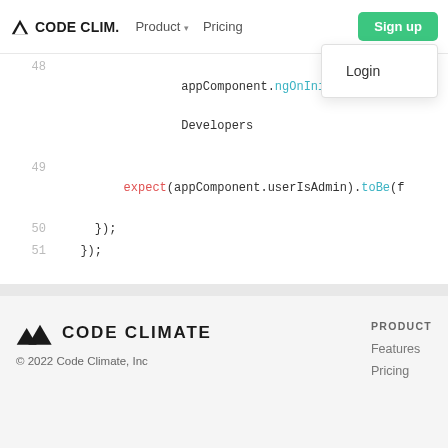CODE CLIM.   Product ▾   Pricing   Sign up   Login
[Figure (screenshot): Code editor snippet showing lines 48-51 with monospace code including appComponent.ngOnInit(); Developers, expect(appComponent.userIsAdmin).toBe(f, });, and });]
[Figure (logo): Code Climate mountain logo with text CODE CLIMATE]
© 2022 Code Climate, Inc
PRODUCT
Features
Pricing